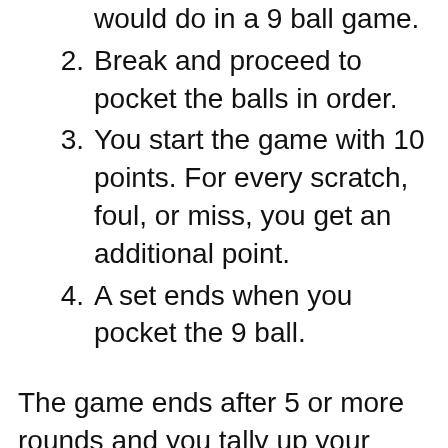would do in a 9 ball game.
Break and proceed to pocket the balls in order.
You start the game with 10 points. For every scratch, foul, or miss, you get an additional point.
A set ends when you pocket the 9 ball.
The game ends after 5 or more rounds and you tally up your points. The lowest score you can get is 100. Getting 100 should be your main goal in every